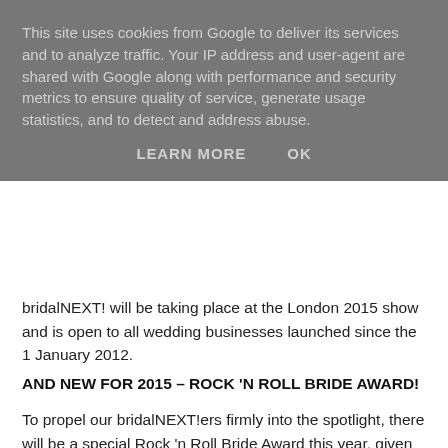This site uses cookies from Google to deliver its services and to analyze traffic. Your IP address and user-agent are shared with Google along with performance and security metrics to ensure quality of service, generate usage statistics, and to detect and address abuse.
LEARN MORE    OK
bridalNEXT! will be taking place at the London 2015 show and is open to all wedding businesses launched since the 1 January 2012.
AND NEW FOR 2015 – ROCK 'N ROLL BRIDE AWARD!
To propel our bridalNEXT!ers firmly into the spotlight, there will be a special Rock 'n Roll Bride Award this year, given for possessing big-time innovation and directional qualities, chosen by the candy hair coloured expressive wedding queen herself Kat Willams, founder of the internationally famous and respected Rock 'n Roll Bride blog and magazine.